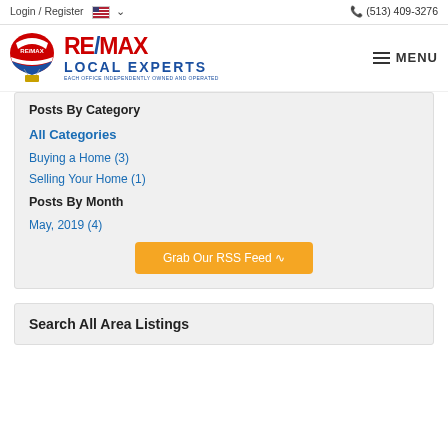Login / Register  (513) 409-3276
[Figure (logo): RE/MAX Local Experts logo with hot air balloon graphic and text 'RE/MAX LOCAL EXPERTS EACH OFFICE INDEPENDENTLY OWNED AND OPERATED']
Posts By Category
All Categories
Buying a Home  (3)
Selling Your Home  (1)
Posts By Month
May, 2019  (4)
Grab Our RSS Feed
Search All Area Listings